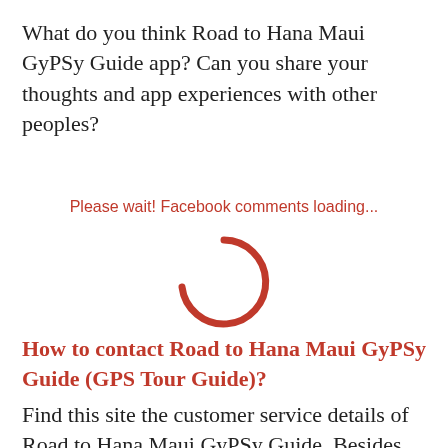What do you think Road to Hana Maui GyPSy Guide app? Can you share your thoughts and app experiences with other peoples?
Please wait! Facebook comments loading...
[Figure (other): A red loading spinner arc, approximately 3/4 circle, indicating Facebook comments are loading.]
How to contact Road to Hana Maui GyPSy Guide (GPS Tour Guide)?
Find this site the customer service details of Road to Hana Maui GyPSy Guide. Besides contact details, the